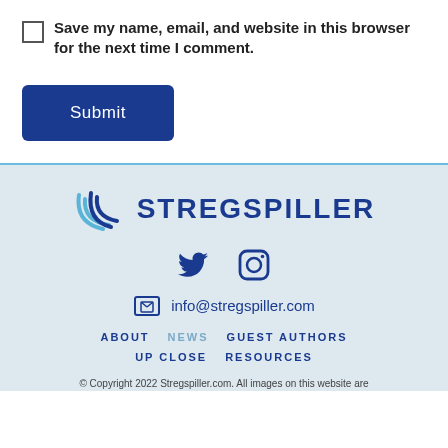Save my name, email, and website in this browser for the next time I comment.
Submit
[Figure (logo): Stregspiller logo with curved swoosh lines and text STREGSPILLER in dark blue]
[Figure (infographic): Social media icons: Twitter bird and Instagram camera in dark blue]
info@stregspiller.com
ABOUT  NEWS  GUEST AUTHORS  UP CLOSE  RESOURCES
© Copyright 2022 Stregspiller.com. All images on this website are